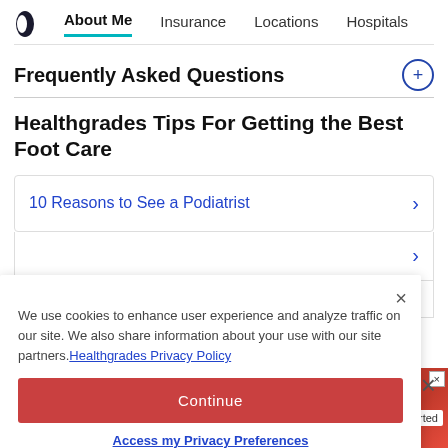About Me | Insurance | Locations | Hospitals
Frequently Asked Questions
Healthgrades Tips For Getting the Best Foot Care
10 Reasons to See a Podiatrist
We use cookies to enhance user experience and analyze traffic on our site. We also share information about your use with our site partners. Healthgrades Privacy Policy
Continue
Access my Privacy Preferences